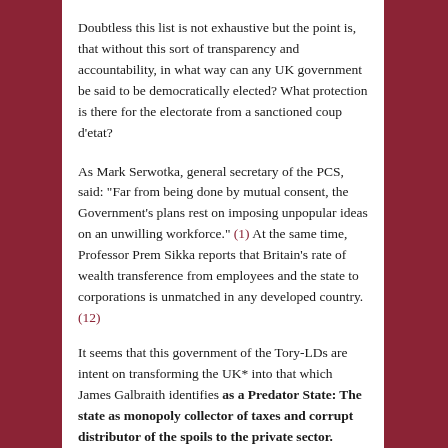Doubtless this list is not exhaustive but the point is, that without this sort of transparency and accountability, in what way can any UK government be said to be democratically elected?  What protection is there for the electorate from a sanctioned coup d'etat?
As Mark Serwotka, general secretary of the PCS, said: "Far from being done by mutual consent, the Government's plans rest on imposing unpopular ideas on an unwilling workforce." (1)  At the same time, Professor Prem Sikka reports that Britain's rate of wealth transference from employees and the state to corporations is unmatched in any developed country. (12)
It seems that this government of the Tory-LDs are intent on transforming the UK* into that which James Galbraith identifies as a Predator State: The state as monopoly collector of taxes and corrupt distributor of the spoils to the private sector.